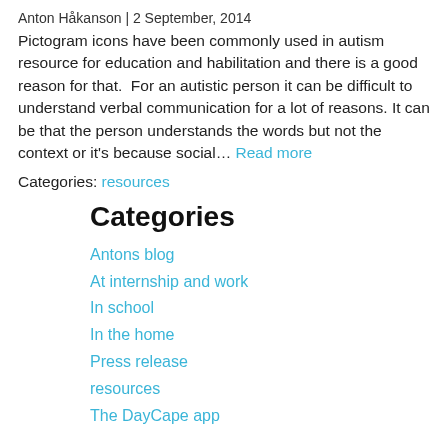Anton Håkanson | 2 September, 2014
Pictogram icons have been commonly used in autism resource for education and habilitation and there is a good reason for that.  For an autistic person it can be difficult to understand verbal communication for a lot of reasons. It can be that the person understands the words but not the context or it's because social…  Read more
Categories: resources
Categories
Antons blog
At internship and work
In school
In the home
Press release
resources
The DayCape app
Tags